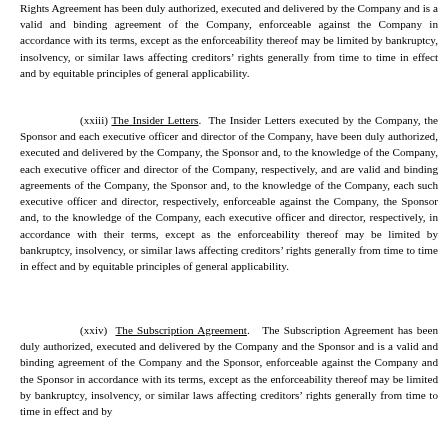Rights Agreement has been duly authorized, executed and delivered by the Company and is a valid and binding agreement of the Company, enforceable against the Company in accordance with its terms, except as the enforceability thereof may be limited by bankruptcy, insolvency, or similar laws affecting creditors' rights generally from time to time in effect and by equitable principles of general applicability.
(xxiii) The Insider Letters. The Insider Letters executed by the Company, the Sponsor and each executive officer and director of the Company, have been duly authorized, executed and delivered by the Company, the Sponsor and, to the knowledge of the Company, each executive officer and director of the Company, respectively, and are valid and binding agreements of the Company, the Sponsor and, to the knowledge of the Company, each such executive officer and director, respectively, enforceable against the Company, the Sponsor and, to the knowledge of the Company, each executive officer and director, respectively, in accordance with their terms, except as the enforceability thereof may be limited by bankruptcy, insolvency, or similar laws affecting creditors' rights generally from time to time in effect and by equitable principles of general applicability.
(xxiv) The Subscription Agreement. The Subscription Agreement has been duly authorized, executed and delivered by the Company and the Sponsor and is a valid and binding agreement of the Company and the Sponsor, enforceable against the Company and the Sponsor in accordance with its terms, except as the enforceability thereof may be limited by bankruptcy, insolvency, or similar laws affecting creditors' rights generally from time to time in effect and by